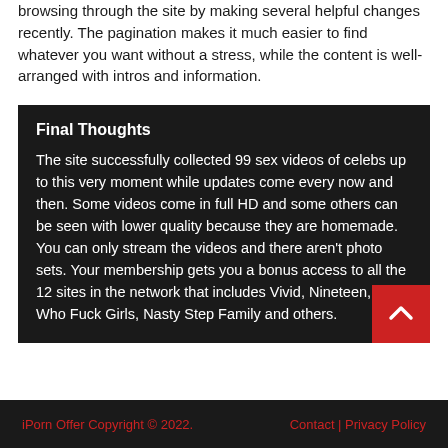browsing through the site by making several helpful changes recently. The pagination makes it much easier to find whatever you want without a stress, while the content is well-arranged with intros and information.
Final Thoughts
The site successfully collected 99 sex videos of celebs up to this very moment while updates come every now and then. Some videos come in full HD and some others can be seen with lower quality because they are homemade. You can only stream the videos and there aren't photo sets. Your membership gets you a bonus access to all the 12 sites in the network that includes Vivid, Nineteen, Girls Who Fuck Girls, Nasty Step Family and others.
iPorn Offer Copyright © 2022.    Contact | Privacy Policy